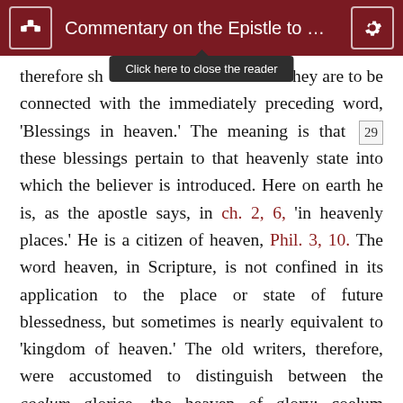Commentary on the Epistle to ...
therefore sh[ould be connected with] hey are to be connected with the immediately preceding word, 'Blessings in heaven.' The meaning is that [29] these blessings pertain to that heavenly state into which the believer is introduced. Here on earth he is, as the apostle says, in ch. 2, 6, 'in heavenly places.' He is a citizen of heaven, Phil. 3, 10. The word heaven, in Scripture, is not confined in its application to the place or state of future blessedness, but sometimes is nearly equivalent to 'kingdom of heaven.' The old writers, therefore, were accustomed to distinguish between the coelum glorice, the heaven of glory; coelum naturae, the